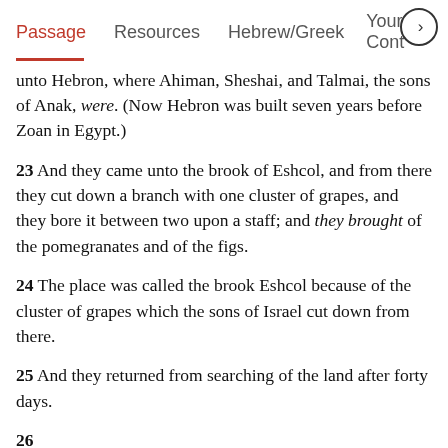Passage   Resources   Hebrew/Greek   Your Cont >
unto Hebron, where Ahiman, Sheshai, and Talmai, the sons of Anak, were. (Now Hebron was built seven years before Zoan in Egypt.)
23 And they came unto the brook of Eshcol, and from there they cut down a branch with one cluster of grapes, and they bore it between two upon a staff; and they brought of the pomegranates and of the figs.
24 The place was called the brook Eshcol because of the cluster of grapes which the sons of Israel cut down from there.
25 And they returned from searching of the land after forty days.
26...